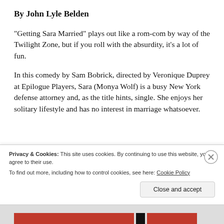By John Lyle Belden
“Getting Sara Married” plays out like a rom-com by way of the Twilight Zone, but if you roll with the absurdity, it’s a lot of fun.
In this comedy by Sam Bobrick, directed by Veronique Duprey at Epilogue Players, Sara (Monya Wolf) is a busy New York defense attorney and, as the title hints, single. She enjoys her solitary lifestyle and has no interest in marriage whatsoever.
Privacy & Cookies: This site uses cookies. By continuing to use this website, you agree to their use.
To find out more, including how to control cookies, see here: Cookie Policy
Close and accept